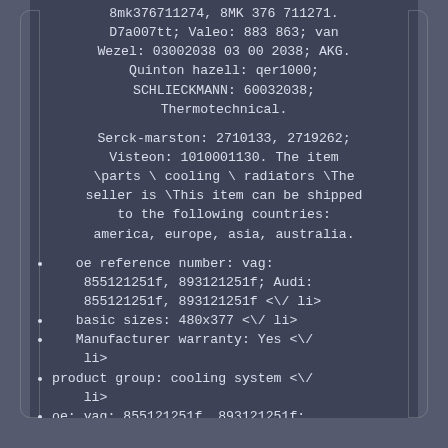8mk376711274, 8MK 376 711271. D7a007tt; Valeo: 883 863; van Wezel: 03002038 03 00 2038; AKG. Quinton hazell: qer1000; SCHLIECKMANN: 60032038; Thermotechnical.
Serck-marston: 2710133, 2719262; Visteon: 1010001130. The item \parts \ cooling \ radiators \The seller is \This item can be shipped to the following countries: america, europe, asia, australia.
oe reference number: vag: 855121251f, 893121251f; Audi: 855121251f, 893121251f <\/ li>
basic sizes: 480x377 <\/ li>
Manufacturer warranty: Yes <\/ li>
product group: cooling system <\/ li>
oe: vag: 855121251f, 893121251f; Audi: 855121251f, 893121251f <\/ li>